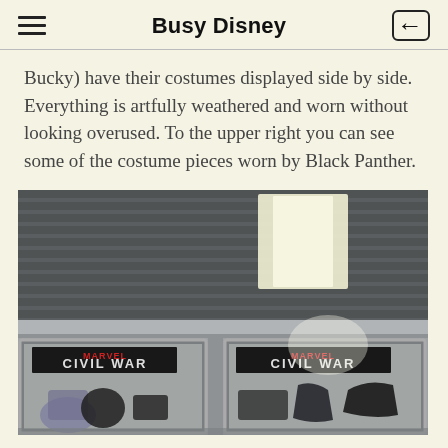Busy Disney
Bucky) have their costumes displayed side by side. Everything is artfully weathered and worn without looking overused. To the upper right you can see some of the costume pieces worn by Black Panther.
[Figure (photo): Interior of an exhibition space showing display cases with Captain America: Civil War branding, containing superhero costumes and props. The ceiling shows corrugated metal panels with recessed lighting. Two glass display cases are visible, each with a black banner reading 'CIVIL WAR'.]